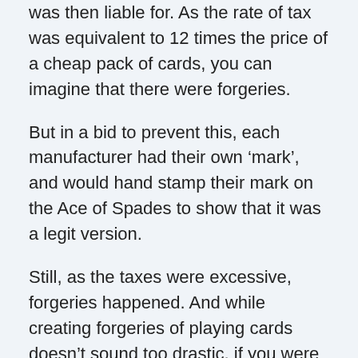was then liable for. As the rate of tax was equivalent to 12 times the price of a cheap pack of cards, you can imagine that there were forgeries.
But in a bid to prevent this, each manufacturer had their own ‘mark’, and would hand stamp their mark on the Ace of Spades to show that it was a legit version.
Still, as the taxes were excessive, forgeries happened. And while creating forgeries of playing cards doesn’t sound too drastic, if you were caught making them the result was hanging.
Until 1828, in order to show that the tax for a specific deck of cards has been paid, a hand stamp was used on one card after the wrapper had